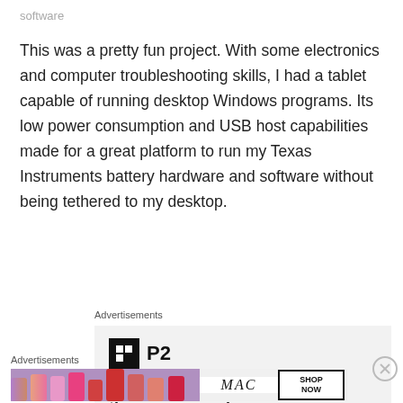software
This was a pretty fun project. With some electronics and computer troubleshooting skills, I had a tablet capable of running desktop Windows programs. Its low power consumption and USB host capabilities made for a great platform to run my Texas Instruments battery hardware and software without being tethered to my desktop.
Advertisements
[Figure (other): P2 advertisement banner with logo and tagline 'Getting your team on the same page is easy.']
Advertisements
[Figure (other): MAC cosmetics advertisement showing lipsticks with 'SHOP NOW' button]